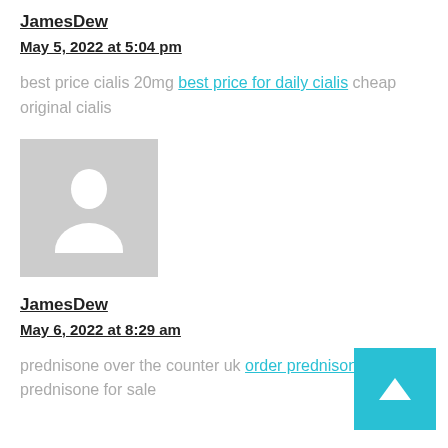JamesDew
May 5, 2022 at 5:04 pm
best price cialis 20mg best price for daily cialis cheap original cialis
[Figure (illustration): Generic user avatar placeholder - grey square with white silhouette of a person]
JamesDew
May 6, 2022 at 8:29 am
prednisone over the counter uk order prednisone generic prednisone for sale